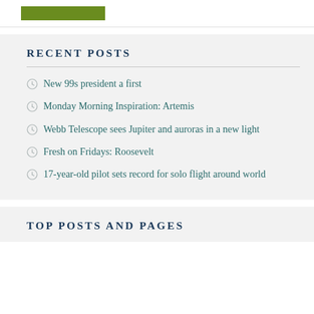[Figure (other): Green button/banner at top of page]
RECENT POSTS
New 99s president a first
Monday Morning Inspiration: Artemis
Webb Telescope sees Jupiter and auroras in a new light
Fresh on Fridays: Roosevelt
17-year-old pilot sets record for solo flight around world
TOP POSTS AND PAGES